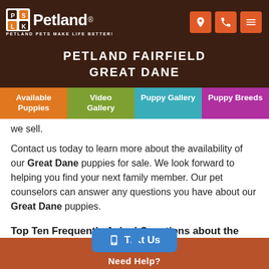Petland — PETLAND PETS MAKE LIFE BETTER!
PETLAND FAIRFIELD
GREAT DANE
we sell.
Contact us today to learn more about the availability of our Great Dane puppies for sale. We look forward to helping you find your next family member. Our pet counselors can answer any questions you have about our Great Dane puppies.
Top Ten Frequently Asked Questions about the Great Dane
Need Help? Text Us